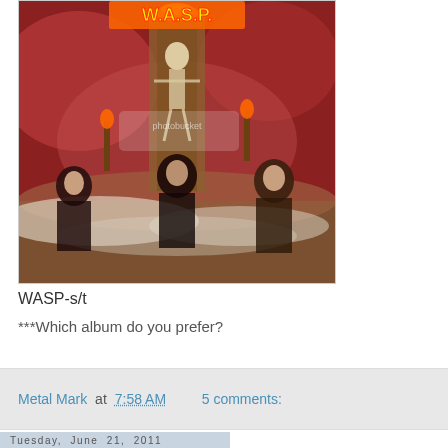[Figure (photo): WASP band album cover - self-titled debut album showing band members in theatrical costumes with fire, a skeleton figure on a cross-like structure, and dramatic red smoky background. Photobucket watermark visible.]
WASP-s/t
***Which album do you prefer?
Metal Mark at 7:58 AM    5 comments:
Tuesday, June 21, 2011